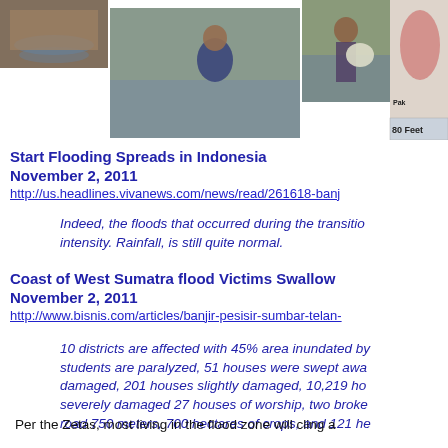[Figure (photo): Row of flood photos: people wading through floodwater, woman carrying bag in flood, flooded scene, and a map with 80 Feet label]
Start Flooding Spreads in Indonesia
November 2, 2011
http://us.headlines.vivanews.com/news/read/261618-banj
Indeed, the floods that occurred during the transition intensity. Rainfall, is still quite normal.
Coast of West Sumatra flood Victims Swallow
November 2, 2011
http://www.bisnis.com/articles/banjir-pesisir-sumbar-telan-
10 districts are affected with 45% area inundated by students are paralyzed, 51 houses were swept away, damaged, 201 houses slightly damaged, 10,219 ho severely damaged 27 houses of worship, two broke road 750 meters, 700 hectares of crops, and 121 he
Per the Zetas, most living in the flood zone will cling a possible.